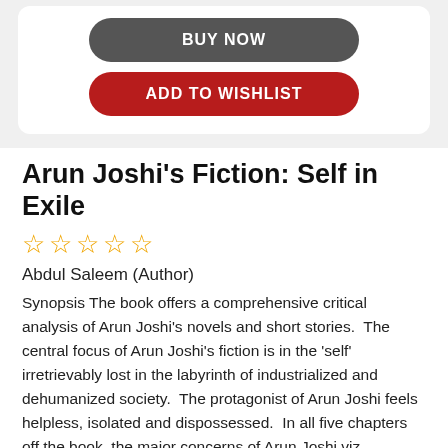[Figure (screenshot): BUY NOW button — dark gray rounded rectangle with white bold text]
[Figure (screenshot): ADD TO WISHLIST button — dark red rounded rectangle with white bold text]
Arun Joshi's Fiction: Self in Exile
[Figure (other): Five empty star rating icons in gold/yellow outline]
Abdul Saleem (Author)
Synopsis The book offers a comprehensive critical analysis of Arun Joshi's novels and short stories.  The central focus of Arun Joshi's fiction is in the 'self' irretrievably lost in the labyrinth of industrialized and dehumanized society.  The protagonist of Arun Joshi feels helpless, isolated and dispossessed.  In all five chapters off the book, the major concerns of Arun Joshi viz., existential predicament, alienation, dispossession, rootlessness, angst, loneliness and facelessness have been discussed.  These concerns are contextualized with textual and authentic secondary source evidence.  In terms of India socio-culturral situations.  The book, it is hoped, will be appreciated by students